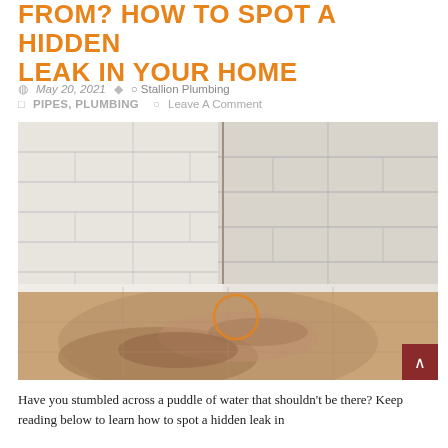FROM? HOW TO SPOT A HIDDEN LEAK IN YOUR HOME
May 20, 2021   Stallion Plumbing   PIPES, PLUMBING   Leave A Comment
[Figure (photo): Corner of a room showing water damage on the floor — a wet stain spreading from the corner where white cinder block walls meet a tile floor, with a drawn orange circle highlighting a stain mark on the floor]
Have you stumbled across a puddle of water that shouldn't be there? Keep reading below to learn how to spot a hidden leak in